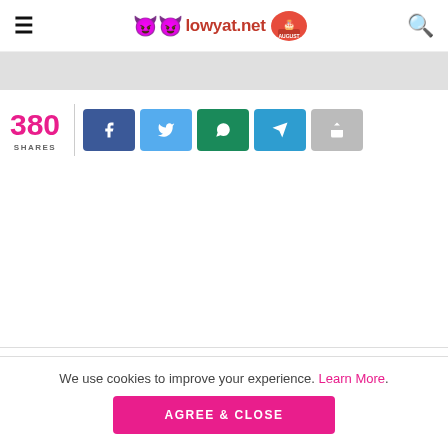lowyat.net
[Figure (screenshot): Gray banner image placeholder]
380 SHARES
[Figure (infographic): Social share buttons: Facebook, Twitter, WhatsApp, Telegram, Share]
We use cookies to improve your experience. Learn More.
AGREE & CLOSE